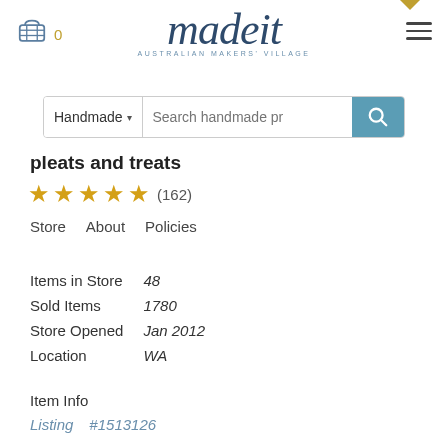[Figure (screenshot): madeit Australian Makers Village website header with cart icon (0), logo, hamburger menu, and search bar with Handmade dropdown]
pleats and treats
[Figure (other): Five gold stars rating with (162) reviews]
Store   About   Policies
| Items in Store | 48 |
| Sold Items | 1780 |
| Store Opened | Jan 2012 |
| Location | WA |
Item Info
Listing   #1513126